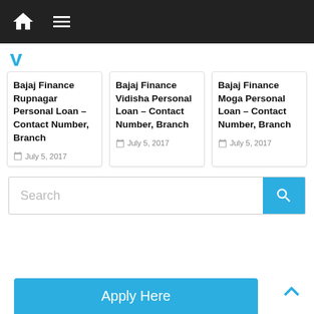[Figure (screenshot): Navigation bar with home icon and hamburger menu on dark background]
y
Bajaj Finance Rupnagar Personal Loan – Contact Number, Branch
July 5, 2017
Bajaj Finance Vidisha Personal Loan – Contact Number, Branch
July 5, 2017
Bajaj Finance Moga Personal Loan – Contact Number, Branch
July 5, 2017
Search
Apply Here